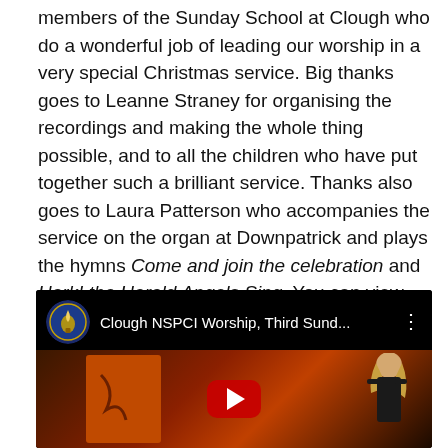members of the Sunday School at Clough who do a wonderful job of leading our worship in a very special Christmas service. Big thanks goes to Leanne Straney for organising the recordings and making the whole thing possible, and to all the children who have put together such a brilliant service. Thanks also goes to Laura Patterson who accompanies the service on the organ at Downpatrick and plays the hymns Come and join the celebration and Hark! the Herald Angels Sing. You can view the video here:
[Figure (screenshot): YouTube video thumbnail showing 'Clough NSPCI Worship, Third Sund...' with a church/NSPCI logo icon on the left, a three-dot menu on the right, and a play button overlay on a dark background with a child visible.]